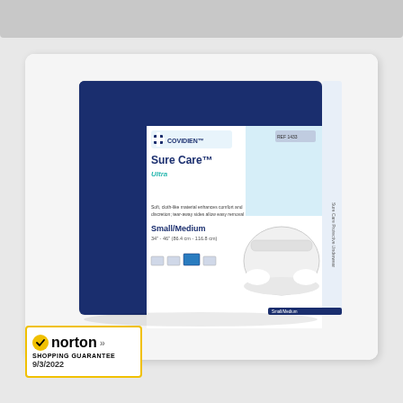[Figure (photo): Product package photo of Covidien Sure Care Ultra Protective Underwear, Small/Medium size (34"-46" / 86.4cm-116.8cm). Package is white with dark navy blue panels and teal accent stripe. Shows the Covidien logo, product name, and an image of the underwear product on the front. Norton Shopping Guarantee badge dated 9/3/2022 is overlaid in the bottom-left corner.]
[Figure (logo): Norton Shopping Guarantee badge with yellow border, checkmark icon, 'norton' text with double arrows, 'SHOPPING GUARANTEE' text, and date '9/3/2022']